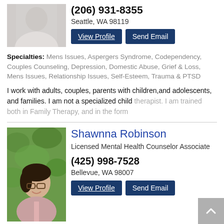(206) 931-8355
Seattle, WA 98119
Specialties: Mens Issues, Aspergers Syndrome, Codependency, Couples Counseling, Depression, Domestic Abuse, Grief & Loss, Mens Issues, Relationship Issues, Self-Esteem, Trauma & PTSD
I work with adults, couples, parents with children,and adolescents, and families. I am not a specialized child therapist. I am trained both in Family Therapy, and in the form
Shawnna Robinson
Licensed Mental Health Counselor Associate
(425) 998-7528
Bellevue, WA 98007
Specialties: Eating Disorders, Anxiety and Panic Disorders, Bipolar Disorder, Depression, Parenting, Relationship Issues, Self-Esteem, Self-Harming, Suicidal Ideation